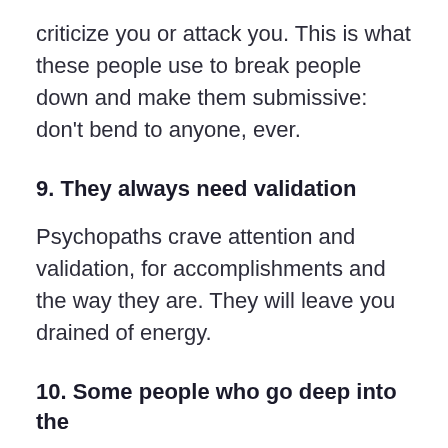criticize you or attack you. This is what these people use to break people down and make them submissive: don't bend to anyone, ever.
9. They always need validation
Psychopaths crave attention and validation, for accomplishments and the way they are. They will leave you drained of energy.
10. Some people who go deep into the